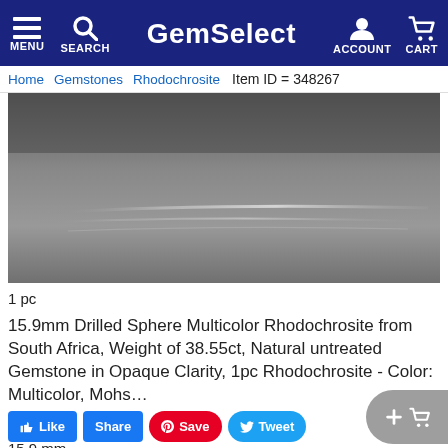GemSelect — MENU | SEARCH | ACCOUNT | CART
Home   Gemstones   Rhodochrosite   Item ID = 348267
[Figure (photo): Close-up photograph of a Rhodochrosite sphere gemstone showing gray/metallic surface texture with linear streaks]
1 pc
15.9mm Drilled Sphere Multicolor Rhodochrosite from South Africa, Weight of 38.55ct, Natural untreated Gemstone in Opaque Clarity, 1pc Rhodochrosite - Color: Multicolor, Mohs…
38.6ct
15.9 mm
$ 84 81